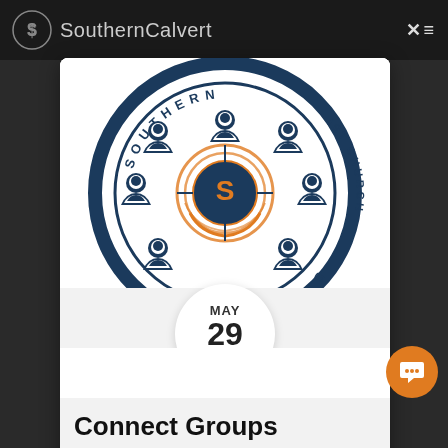SouthernCalvert
[Figure (logo): Southern Calvert Baptist Church circular logo with person icons and orange S center, Connect Groups event image with date badge showing MAY 29 2022]
Connect Groups
9:30 am – | 12140 H G Trueman Rd, Lusby, MD 2 | More Info